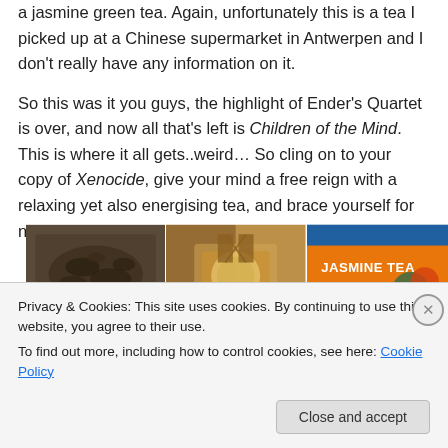a jasmine green tea. Again, unfortunately this is a tea I picked up at a Chinese supermarket in Antwerpen and I don't really have any information on it.

So this was it you guys, the highlight of Ender's Quartet is over, and now all that's left is Children of the Mind. This is where it all gets..weird… So cling on to your copy of Xenocide, give your mind a free reign with a relaxing yet also energising tea, and brace yourself for next week..
[Figure (photo): Three-panel photo strip showing: loose jasmine green tea leaves in a bowl (left), a glass cup of brewed jasmine tea with a decorative background (center), and a tin of Jasmine Tea with orange/blue label (right)]
Privacy & Cookies: This site uses cookies. By continuing to use this website, you agree to their use.
To find out more, including how to control cookies, see here: Cookie Policy